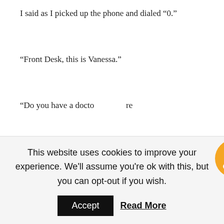I said as I picked up the phone and dialed â0.â
âFront Desk, this is Vanessa.â
âDo you have a docto re
[Figure (illustration): Social media icons overlay: RSS feed icon (orange), Follow button (grey), Facebook icon (blue), Twitter icon (light blue)]
âNo but we can get one. Do you need an ambulance?â
That question caught me off guard. âI donât know,â I said. âMy husband is extremely disoriented.â
This website uses cookies to improve your experience. We'll assume you're ok with this, but you can opt-out if you wish. Accept Read More